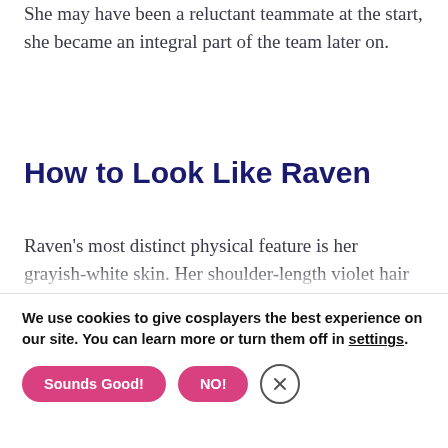She may have been a reluctant teammate at the start, she became an integral part of the team later on.
How to Look Like Raven
Raven's most distinct physical feature is her grayish-white skin. Her shoulder-length violet hair is straight and angled, meeting in the middle with a prominent widow's peak
We use cookies to give cosplayers the best experience on our site. You can learn more or turn them off in settings.